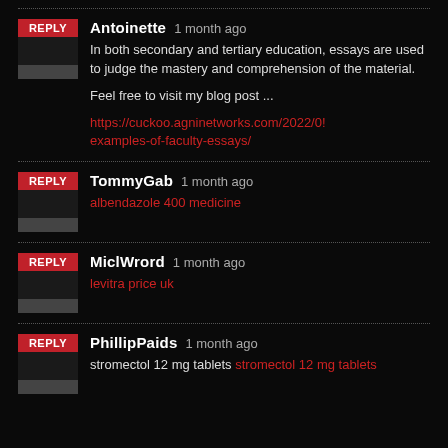Antoinette 1 month ago — In both secondary and tertiary education, essays are used to judge the mastery and comprehension of the material. Feel free to visit my blog post ... https://cuckoo.agninetworks.com/2022/0! examples-of-faculty-essays/
TommyGab 1 month ago — albendazole 400 medicine
MiclWrord 1 month ago — levitra price uk
PhillipPaids 1 month ago — stromectol 12 mg tablets stromectol 12 mg tablets